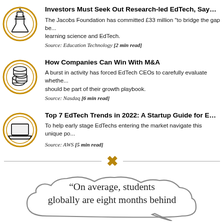Investors Must Seek Out Research-led EdTech, Says Education Foundation. The Jacobs Foundation has committed £33 million "to bridge the gap between learning science and EdTech. Source: Education Technology [2 min read]
How Companies Can Win With M&A. A burst in activity has forced EdTech CEOs to carefully evaluate whether M&A should be part of their growth playbook. Source: Nasdaq [6 min read]
Top 7 EdTech Trends in 2022: A Startup Guide for EdTech Entrepreneurs. To help early stage EdTechs entering the market navigate this unique po... Source: AWS [5 min read]
[Figure (illustration): Decorative divider with an X symbol in gold/amber color flanked by horizontal lines]
“On average, students globally are eight months behind